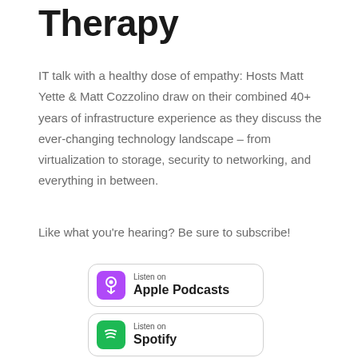Therapy
IT talk with a healthy dose of empathy: Hosts Matt Yette & Matt Cozzolino draw on their combined 40+ years of infrastructure experience as they discuss the ever-changing technology landscape – from virtualization to storage, security to networking, and everything in between.
Like what you're hearing? Be sure to subscribe!
[Figure (logo): Listen on Apple Podcasts badge]
[Figure (logo): Listen on Spotify badge]
[Figure (logo): Third platform badge (partially visible)]